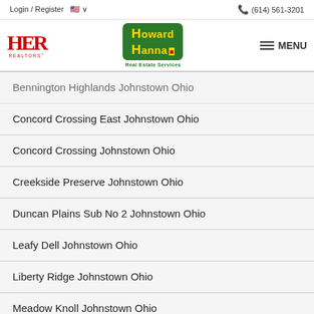Login / Register    (614) 561-3201
[Figure (logo): HER Realtors and Howard Hanna Real Estate Services logos with MENU button]
Bennington Highlands Johnstown Ohio
Concord Crossing East Johnstown Ohio
Concord Crossing Johnstown Ohio
Creekside Preserve Johnstown Ohio
Duncan Plains Sub No 2 Johnstown Ohio
Leafy Dell Johnstown Ohio
Liberty Ridge Johnstown Ohio
Meadow Knoll Johnstown Ohio
Rolling Meadows Johnstown Ohio